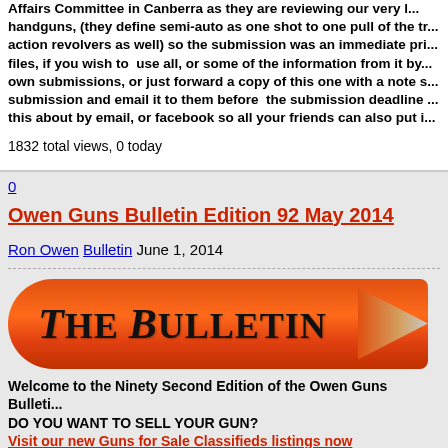Affairs Committee in Canberra as they are reviewing our very l... handguns, (they define semi-auto as one shot to one pull of the tr... action revolvers as well) so the submission was an immediate pri... files, if you wish to use all, or some of the information from it by... own submissions, or just forward a copy of this one with a note s... submission and email it to them before the submission deadline ... this about by email, or facebook so all your friends can also put i...
1832 total views, 0 today
0
Owen Guns Bulletin Edition 92 May 2014
Ron Owen Bulletin June 1, 2014
[Figure (illustration): The Bulletin logo styled as a bullet/projectile shape in red-orange gradient with 'THE BULLETIN' text in bold serif black font]
Welcome to the Ninety Second Edition of the Owen Guns Bulleti... DO YOU WANT TO SELL YOUR GUN? Visit our new Guns for Sale Classifieds listings now
[Figure (illustration): Used Guns @ Owen Guns banner in gold/yellow background with dark blue serif text and circular owl logo on right]